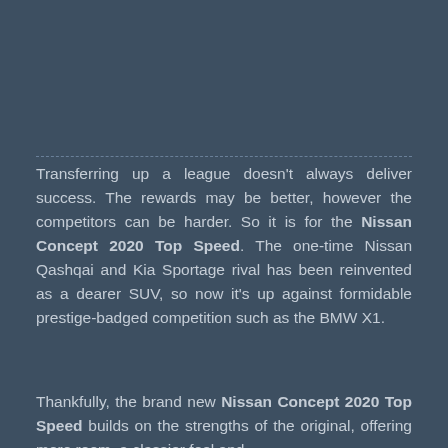Transferring up a league doesn't always deliver success. The rewards may be better, however the competitors can be harder. So it is for the Nissan Concept 2020 Top Speed. The one-time Nissan Qashqai and Kia Sportage rival has been reinvented as a dearer SUV, so now it's up against formidable prestige-badged competition such as the BMW X1.
Thankfully, the brand new Nissan Concept 2020 Top Speed builds on the strengths of the original, offering more room, a classier feel and